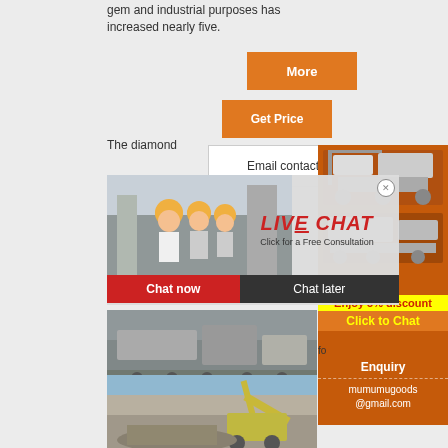gem and industrial purposes has increased nearly five.
[Figure (screenshot): Orange 'More' button]
[Figure (screenshot): Orange 'Get Price' button]
[Figure (screenshot): White 'Email contact' button]
The diamond
[Figure (photo): Live chat overlay with workers in hard hats, LIVE CHAT heading in red italic, 'Click for a Free Consultation' subtext, close X button]
[Figure (screenshot): Chat now (red) and Chat later (dark) buttons]
[Figure (photo): Right panel with orange background showing mining/crushing machine images]
Mi
fo
[Figure (screenshot): Yellow banner: Enjoy 3% discount, orange banner: Click to Chat]
[Figure (screenshot): Enquiry section with mumumugoods@gmail.com]
[Figure (photo): Bottom left photo of construction/mining machinery]
[Figure (photo): Bottom large photo of construction machinery and excavator]